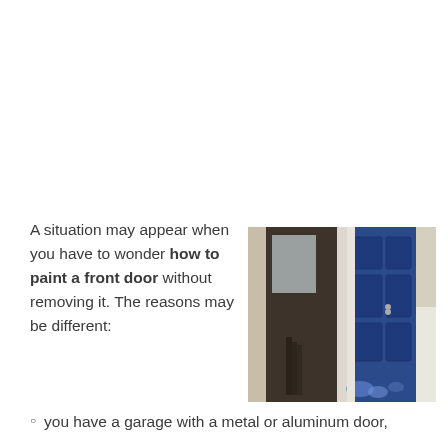A situation may appear when you have to wonder how to paint a front door without removing it. The reasons may be different:
[Figure (photo): Side-by-side comparison of two front doors: on the left, a dark brown/black unpainted door in a brick doorframe with items leaning against it; on the right, a freshly painted bright blue door in a white doorframe with siding visible.]
you have a garage with a metal or aluminum door,